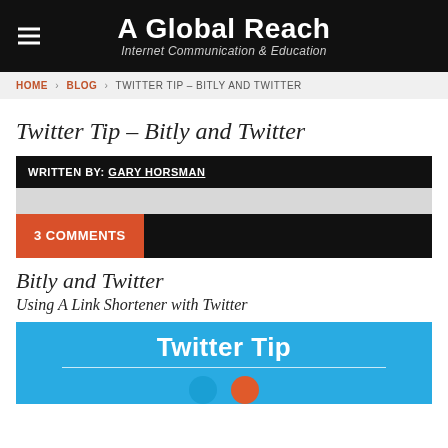A Global Reach — Internet Communication & Education
HOME > BLOG > TWITTER TIP – BITLY AND TWITTER
Twitter Tip – Bitly and Twitter
WRITTEN BY: GARY HORSMAN
3 COMMENTS
Bitly and Twitter
Using A Link Shortener with Twitter
[Figure (illustration): Twitter Tip banner image with blue background showing 'Twitter Tip' text, a horizontal white line, and circular icons below]